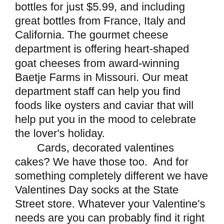bottles for just $5.99, and including great bottles from France, Italy and California. The gourmet cheese department is offering heart-shaped goat cheeses from award-winning Baetje Farms in Missouri. Our meat department staff can help you find foods like oysters and caviar that will help put you in the mood to celebrate the lover's holiday.
    Cards, decorated valentines cakes? We have those too.  And for something completely different we have Valentines Day socks at the State Street store. Whatever your Valentine's needs are you can probably find it right where you always find quality groceries for your quality life.